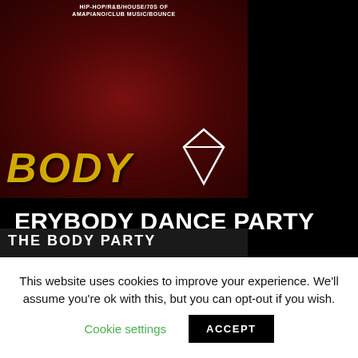[Figure (illustration): Promotional event image for 'BODY' party with dark red background, silhouettes of people, text reading 'Hip-Hop/R&B/House/70s of Amapiano/Club Music/Bounce', bold yellow italic 'BODY' text at the bottom left, and a diamond outline graphic.]
ERYBODY DANCE PARTY
EVENT
Gay Agenda will be your DJ for your Saturday Dance Party, after The Body Party. From Hip-Hop to House, DANCE All DAMMIT NIGHT!
[Figure (illustration): Partial image bar showing 'THE BODY PARTY' text in bold white letters on dark background.]
This website uses cookies to improve your experience. We'll assume you're ok with this, but you can opt-out if you wish.
Cookie settings
ACCEPT